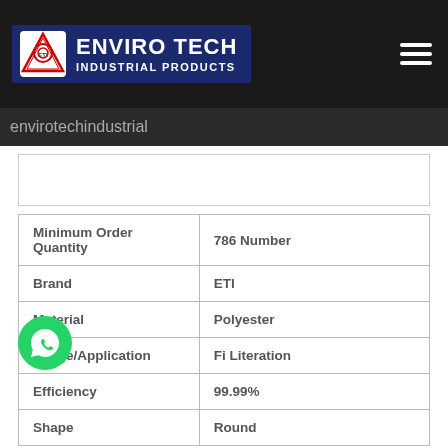ENVIRO TECH INDUSTRIAL PRODUCTS
envirotechindustrial
| Property | Value |
| --- | --- |
| Minimum Order Quantity | 786 Number |
| Brand | ETI |
| Material | Polyester |
| Usage/Application | Fi Literation |
| Efficiency | 99.99% |
| Shape | Round |